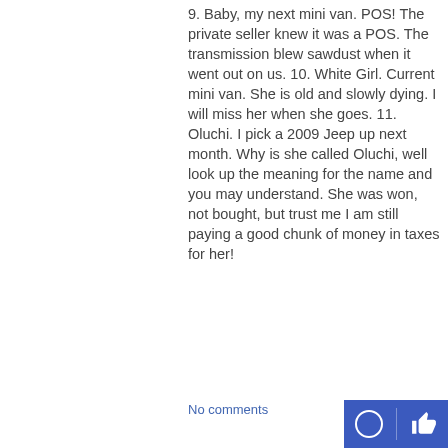9. Baby, my next mini van. POS! The private seller knew it was a POS. The transmission blew sawdust when it went out on us. 10. White Girl. Current mini van. She is old and slowly dying. I will miss her when she goes. 11. Oluchi. I pick a 2009 Jeep up next month. Why is she called Oluchi, well look up the meaning for the name and you may understand. She was won, not bought, but trust me I am still paying a good chunk of money in taxes for her!
No comments